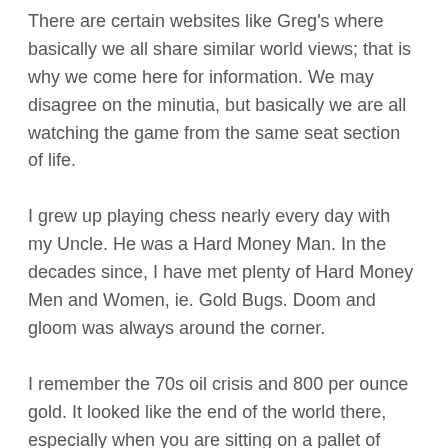There are certain websites like Greg's where basically we all share similar world views; that is why we come here for information. We may disagree on the minutia, but basically we are all watching the game from the same seat section of life.
I grew up playing chess nearly every day with my Uncle. He was a Hard Money Man. In the decades since, I have met plenty of Hard Money Men and Women, ie. Gold Bugs. Doom and gloom was always around the corner.
I remember the 70s oil crisis and 800 per ounce gold. It looked like the end of the world there, especially when you are sitting on a pallet of bombs 200 miles off the coast of Iran.
The whole fiat-fractional reserve, central banking system has run its course. Globalizing on the world for Empirical...